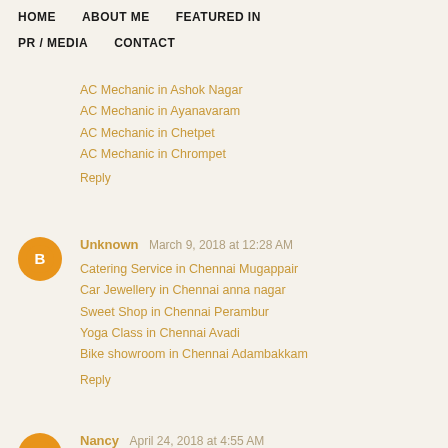HOME   ABOUT ME   FEATURED IN   PR / MEDIA   CONTACT
AC Mechanic in Ashok Nagar
AC Mechanic in Ayanavaram
AC Mechanic in Chetpet
AC Mechanic in Chrompet
Reply
Unknown  March 9, 2018 at 12:28 AM
Catering Service in Chennai Mugappair
Car Jewellery in Chennai anna nagar
Sweet Shop in Chennai Perambur
Yoga Class in Chennai Avadi
Bike showroom in Chennai Adambakkam
Reply
Nancy  April 24, 2018 at 4:55 AM
Wow!!!..Really amazing blog,its useful for everyone..Thanks for sharing
Summer Camp Training in Chennai | Summer Camp Training in Velache